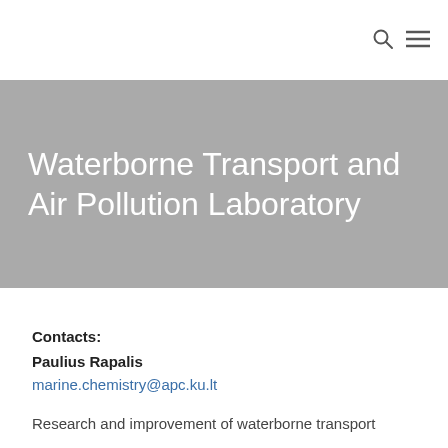🔍 ☰
Waterborne Transport and Air Pollution Laboratory
Contacts:
Paulius Rapalis
marine.chemistry@apc.ku.lt
Research and improvement of waterborne transport